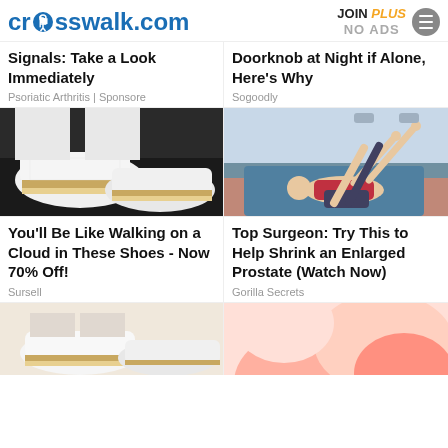crosswalk.com | JOIN PLUS NO ADS
Signals: Take a Look Immediately
Psoriatic Arthritis | Sponsore
Doorknob at Night if Alone, Here's Why
Sogoodly
[Figure (photo): Close-up photo of white mesh espadrille sneakers on feet with white jeans]
[Figure (illustration): Cartoon illustration of person lying on floor doing stretching exercise]
You'll Be Like Walking on a Cloud in These Shoes - Now 70% Off!
Sursell
Top Surgeon: Try This to Help Shrink an Enlarged Prostate (Watch Now)
Gorilla Secrets
[Figure (photo): Photo of white mesh espadrille shoes from above on light background]
[Figure (photo): Close-up photo of skin/body part in pink tones]